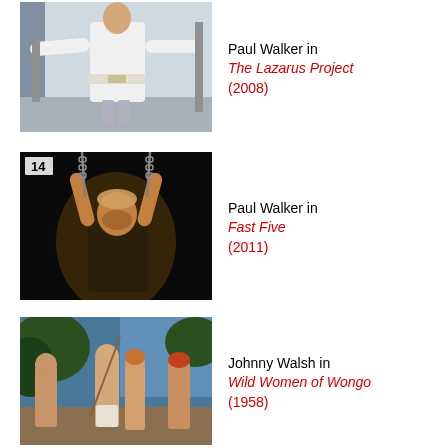[Figure (photo): Paul Walker in white shirt with belt, arms outstretched]
Paul Walker in The Lazarus Project (2008)
[Figure (photo): Paul Walker with arms raised holding chains, dark background, channel 14 logo]
Paul Walker in Fast Five (2011)
[Figure (photo): Group scene with men and women in tropical setting]
Johnny Walsh in Wild Women of Wongo (1958)